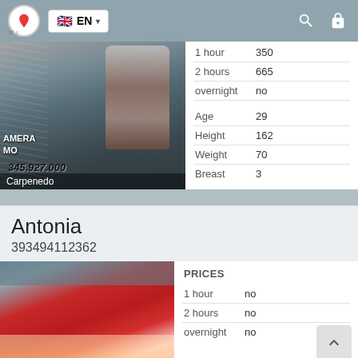EN
[Figure (screenshot): Photo of a person, partially visible, with text overlays '\u5c91ERA', 'MO', '345.927.000', and location 'Carpenedo']
|  |  |
| --- | --- |
| 1 hour | 350 |
| 2 hours | 665 |
| overnight | no |
| Age | 29 |
| Height | 162 |
| Weight | 70 |
| Breast | 3 |
Antonia
393494112362
[Figure (photo): Photo showing a red surface and partial view of a person lying down]
| PRICES |  |
| --- | --- |
| 1 hour | no |
| 2 hours | no |
| overnight | no |